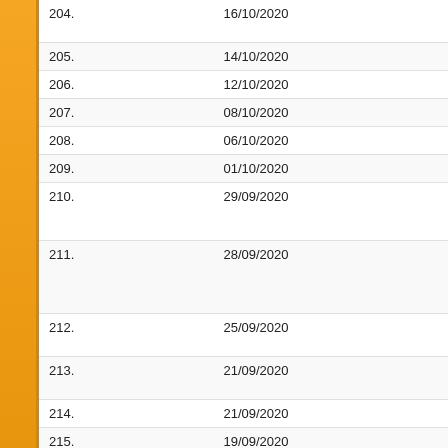| No. | Date | Title |
| --- | --- | --- |
| 204. | 16/10/2020 | Exit semeste reappear in e |
| 205. | 14/10/2020 | Press Releas |
| 206. | 12/10/2020 | Press Releas |
| 207. | 08/10/2020 | Press Releas |
| 208. | 06/10/2020 | Press Releas |
| 209. | 01/10/2020 | Press Regar |
| 210. | 29/09/2020 | CLARIFICAT EDUCATION CHILDREN - |
| 211. | 28/09/2020 | IMPORTANT - ENVIRONM VIOLENCE A 0104) |
| 212. | 25/09/2020 | Instructions f online exami |
| 213. | 21/09/2020 | Appointment UG/PG/Othe |
| 214. | 21/09/2020 | Guidelines fo |
| 215. | 19/09/2020 | Notification f ADVANCED |